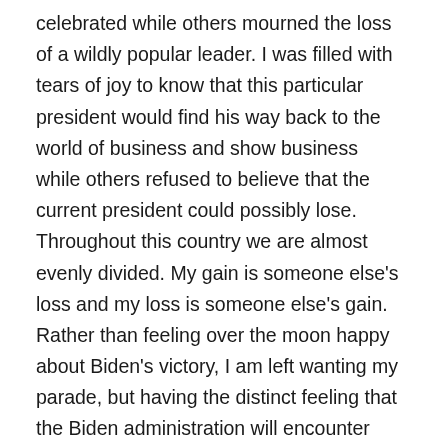celebrated while others mourned the loss of a wildly popular leader.  I was filled with tears of joy to know that this particular president would find his way back to the world of business and show business  while others refused to believe that the current president could possibly lose. Throughout this country we are almost evenly divided.  My gain is someone else's loss and my loss is someone else's gain.  Rather than feeling over the moon happy about Biden's victory, I am left wanting my parade, but having the distinct feeling that the Biden administration will encounter enormous challenges because of this divide in our country.
We are now reading the book of